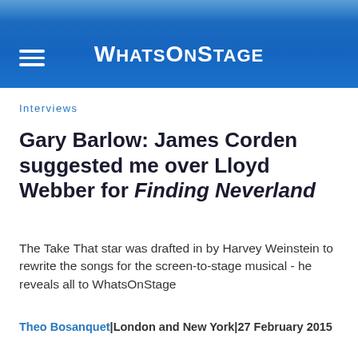WHATSONSTAGE
Interviews
Gary Barlow: James Corden suggested me over Lloyd Webber for Finding Neverland
The Take That star was drafted in by Harvey Weinstein to rewrite the songs for the screen-to-stage musical - he reveals all to WhatsOnStage
Theo Bosanquet|London and New York|27 February 2015